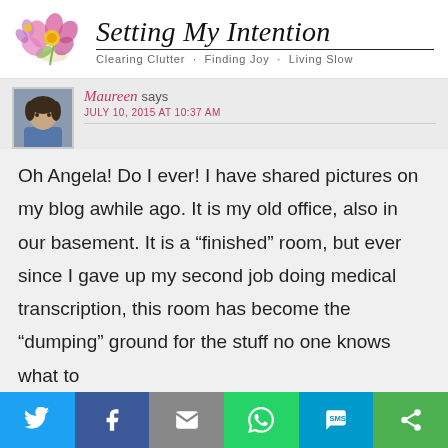Setting My Intention — Clearing Clutter · Finding Joy · Living Slow
Maureen says
JULY 10, 2015 AT 10:37 AM
Oh Angela! Do I ever! I have shared pictures on my blog awhile ago. It is my old office, also in our basement. It is a “finished” room, but ever since I gave up my second job doing medical transcription, this room has become the “dumping” ground for the stuff no one knows what to
Twitter | Facebook | Email | WhatsApp | SMS | More